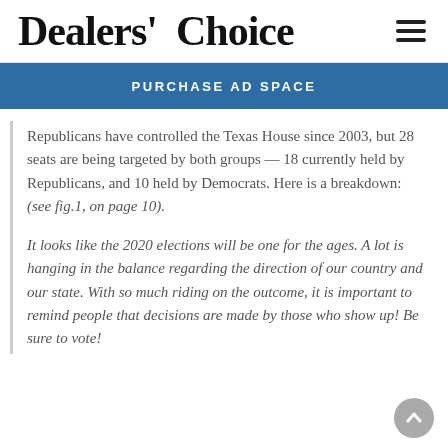Dealers' Choice
PURCHASE AD SPACE
Republicans have controlled the Texas House since 2003, but 28 seats are being targeted by both groups — 18 currently held by Republicans, and 10 held by Democrats. Here is a breakdown: (see fig.1, on page 10).
It looks like the 2020 elections will be one for the ages. A lot is hanging in the balance regarding the direction of our country and our state. With so much riding on the outcome, it is important to remind people that decisions are made by those who show up! Be sure to vote!